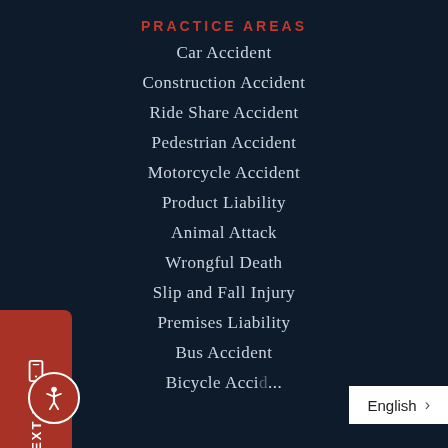PRACTICE AREAS
Car Accident
Construction Accident
Ride Share Accident
Pedestrian Accident
Motorcycle Accident
Product Liability
Animal Attack
Wrongful Death
Slip and Fall Injury
Premises Liability
Bus Accident
Bicycle Accident